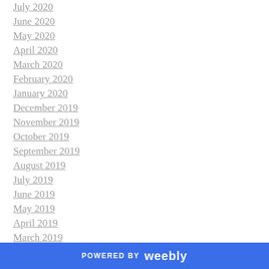July 2020
June 2020
May 2020
April 2020
March 2020
February 2020
January 2020
December 2019
November 2019
October 2019
September 2019
August 2019
July 2019
June 2019
May 2019
April 2019
March 2019
POWERED BY weebly